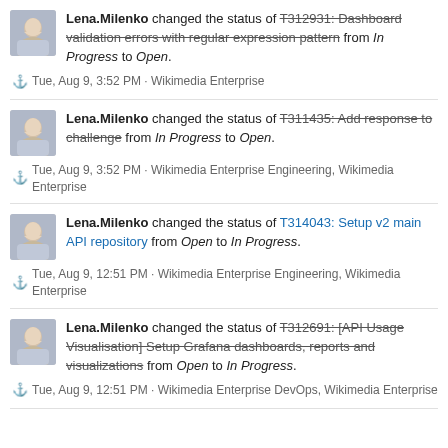Lena.Milenko changed the status of T312931: Dashboard validation errors with regular expression pattern from In Progress to Open.
Tue, Aug 9, 3:52 PM · Wikimedia Enterprise
Lena.Milenko changed the status of T311435: Add response to challenge from In Progress to Open.
Tue, Aug 9, 3:52 PM · Wikimedia Enterprise Engineering, Wikimedia Enterprise
Lena.Milenko changed the status of T314043: Setup v2 main API repository from Open to In Progress.
Tue, Aug 9, 12:51 PM · Wikimedia Enterprise Engineering, Wikimedia Enterprise
Lena.Milenko changed the status of T312691: [API Usage Visualisation] Setup Grafana dashboards, reports and visualizations from Open to In Progress.
Tue, Aug 9, 12:51 PM · Wikimedia Enterprise DevOps, Wikimedia Enterprise